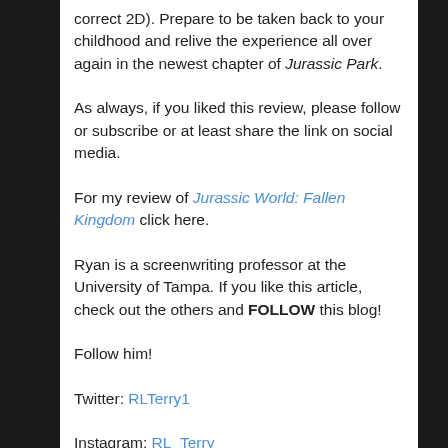correct 2D). Prepare to be taken back to your childhood and relive the experience all over again in the newest chapter of Jurassic Park.
As always, if you liked this review, please follow or subscribe or at least share the link on social media.
For my review of Jurassic World: Fallen Kingdom click here.
Ryan is a screenwriting professor at the University of Tampa. If you like this article, check out the others and FOLLOW this blog!
Follow him!
Twitter: RLTerry1
Instagram: RL_Terry
Thrillz (theme parks): Thrillz.co